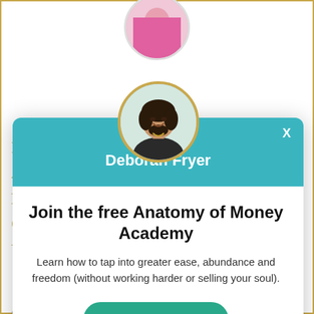[Figure (photo): Circular profile photo partially visible at top of background page, cropped at top edge]
I
A
B
O
W
S
p
b
re
n
a
w
a.
[Figure (photo): Modal popup overlay with teal header showing circular portrait photo of Deborah Fryer (woman with dark curly hair, smiling, wearing dark jacket), gold circle border around photo, white X close button top-right]
Deborah Fryer
Join the free Anatomy of Money Academy
Learn how to tap into greater ease, abundance and freedom (without working harder or selling your soul).
Learn More